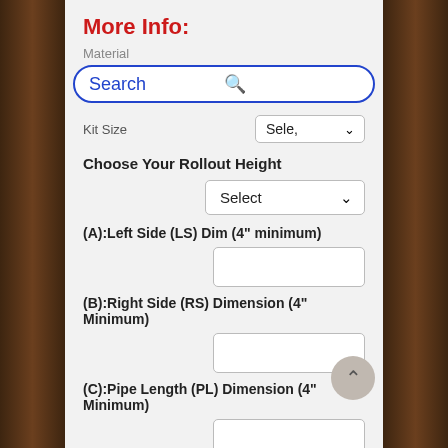More Info:
Material
Search
Kit Size
Choose Your Rollout Height
(A):Left Side (LS) Dim (4" minimum)
(B):Right Side (RS) Dimension (4" Minimum)
(C):Pipe Length (PL) Dimension (4" Minimum)
QuikTRAY Quote #